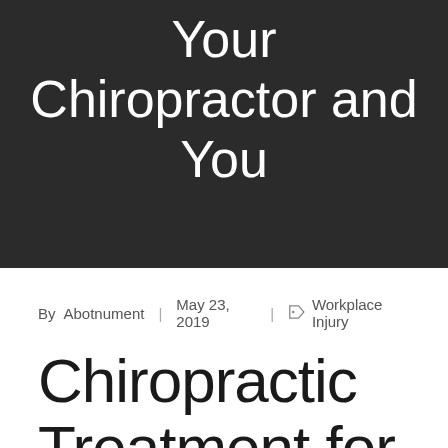Your Chiropractor and You
By Abotnument | May 23, 2019 | Workplace Injury
Chiropractic Treatment for